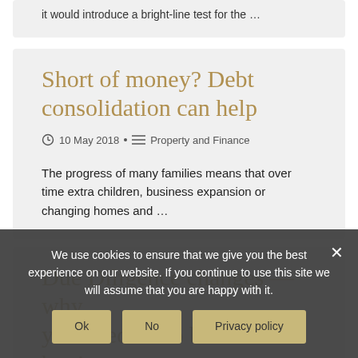it would introduce a bright-line test for the …
Short of money? Debt consolidation can help
10 May 2018 • Property and Finance
The progress of many families means that over time extra children, business expansion or changing homes and …
Due Diligence changes — Why you need to do before buying a commercial property or
We use cookies to ensure that we give you the best experience on our website. If you continue to use this site we will assume that you are happy with it.